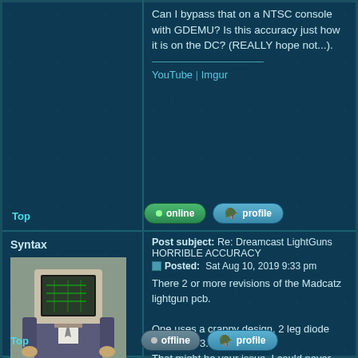Can I bypass that on a NTSC console with GDEMU? Is this accuracy just how it is on the DC? (REALLY hope not...).
YouTube | Imgur
Top
online
profile
Post subject: Re: Dreamcast LightGuns HORRIBLE ACCURACY
Posted: Sat Aug 10, 2019 9:33 pm
Syntax
[Figure (photo): User avatar: person in suit with old CRT monitor as head]
Joined: 09 Aug 2017
Posts: 1710
Location: Australia
There 2 or more revisions of the Madcatz lightgun pcb.

One uses a crappy design, 2 leg diode instead of 3.
That might be your issue, I could never get that board to work right when i tried modding them.

This is the good board for reference.
SPOILER: SHOW
Top
offline
profile